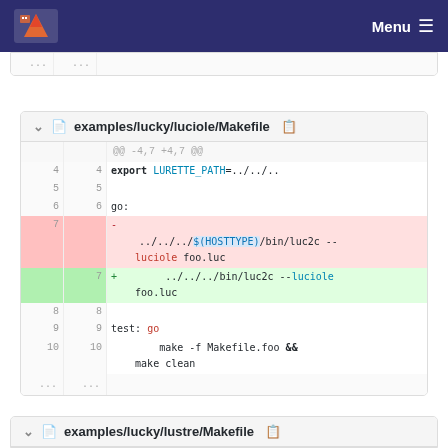Menu
... ...
examples/lucky/luciole/Makefile
@@ -4,7 +4,7 @@
4  4    export LURETTE_PATH=../../..
5  5
6  6    go:
7       -   ../../../$(HOSTTYPE)/bin/luc2c --luciole foo.luc
   7   +           ../../../bin/luc2c --luciole foo.luc
8  8
9  9    test: go
10 10       make -f Makefile.foo && make clean
... ...
examples/lucky/lustre/Makefile